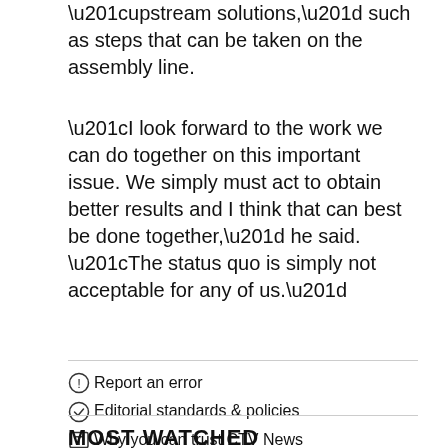“upstream solutions,” such as steps that can be taken on the assembly line.
“I look forward to the work we can do together on this important issue. We simply must act to obtain better results and I think that can best be done together,” he said. “The status quo is simply not acceptable for any of us.”
Report an error
Editorial standards & policies
Why you can trust CTV News
MOST WATCHED